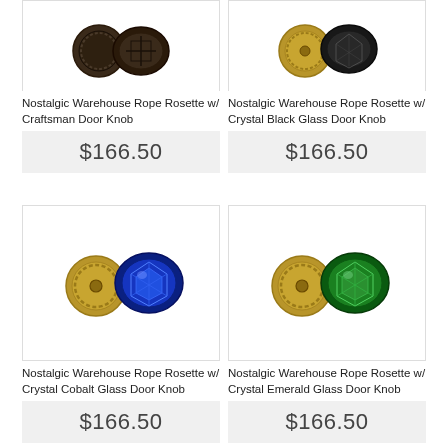[Figure (photo): Nostalgic Warehouse Rope Rosette with Craftsman Door Knob product photo - dark bronze knob]
[Figure (photo): Nostalgic Warehouse Rope Rosette with Crystal Black Glass Door Knob product photo - antique brass with black crystal]
Nostalgic Warehouse Rope Rosette w/ Craftsman Door Knob
$166.50
Nostalgic Warehouse Rope Rosette w/ Crystal Black Glass Door Knob
$166.50
[Figure (photo): Nostalgic Warehouse Rope Rosette with Crystal Cobalt Glass Door Knob product photo - antique brass with cobalt blue crystal]
[Figure (photo): Nostalgic Warehouse Rope Rosette with Crystal Emerald Glass Door Knob product photo - antique brass with emerald green crystal]
Nostalgic Warehouse Rope Rosette w/ Crystal Cobalt Glass Door Knob
$166.50
Nostalgic Warehouse Rope Rosette w/ Crystal Emerald Glass Door Knob
$166.50